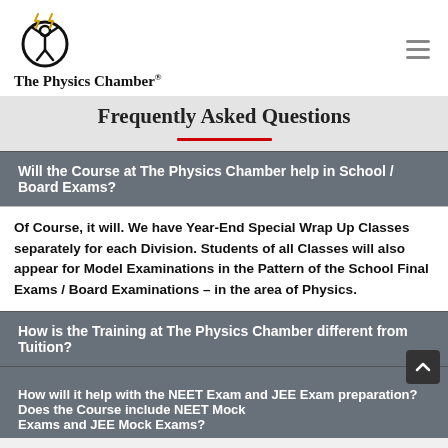The Physics Chamber®
Frequently Asked Questions
Will the Course at The Physics Chamber help in School / Board Exams?
Of Course, it will. We have Year-End Special Wrap Up Classes separately for each Division. Students of all Classes will also appear for Model Examinations in the Pattern of the School Final Exams / Board Examinations – in the area of Physics.
How is the Training at The Physics Chamber different from Tuition?
How will it help with the NEET Exam and JEE Exam preparation? Does the Course include NEET Mock Exams and JEE Mock Exams?